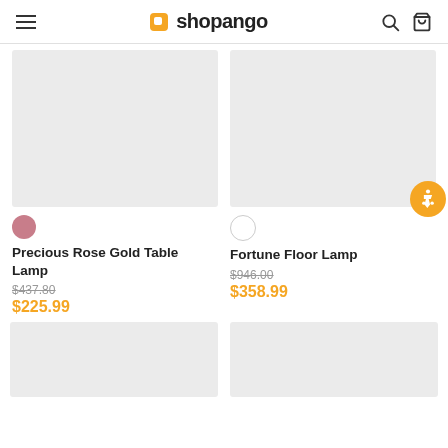shopango
[Figure (photo): Product image placeholder for Precious Rose Gold Table Lamp (light grey rectangle)]
[Figure (photo): Product image placeholder for Fortune Floor Lamp (light grey rectangle)]
Precious Rose Gold Table Lamp
$437.80 $225.99
Fortune Floor Lamp
$946.00 $358.99
[Figure (photo): Product image placeholder bottom-left (light grey rectangle)]
[Figure (photo): Product image placeholder bottom-right (light grey rectangle)]